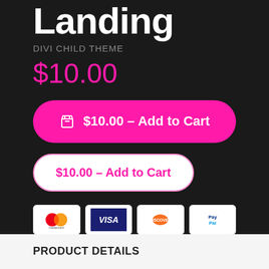Landing
DIVI CHILD THEME
$10.00
🛒 $10.00 – Add to Cart
$10.00 – Add to Cart
[Figure (other): Payment method icons: Mastercard, Visa, Discover, PayPal]
PRODUCT DETAILS